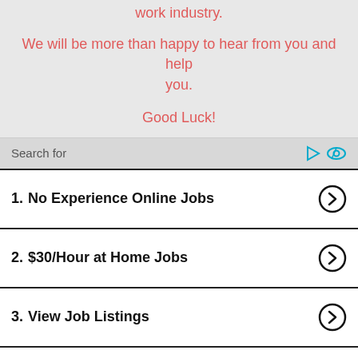work industry.
We will be more than happy to hear from you and help you.
Good Luck!
1. No Experience Online Jobs
2. $30/Hour at Home Jobs
3. View Job Listings
4. Online Typing Jobs from Home